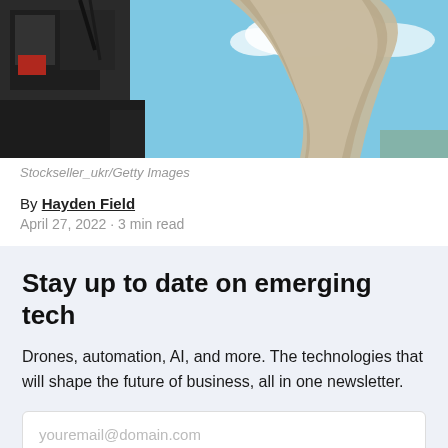[Figure (photo): Photograph of construction machinery pouring concrete/sand against a blue sky with clouds]
Stockseller_ukr/Getty Images
By Hayden Field
April 27, 2022 · 3 min read
Stay up to date on emerging tech
Drones, automation, AI, and more. The technologies that will shape the future of business, all in one newsletter.
youremail@domain.com